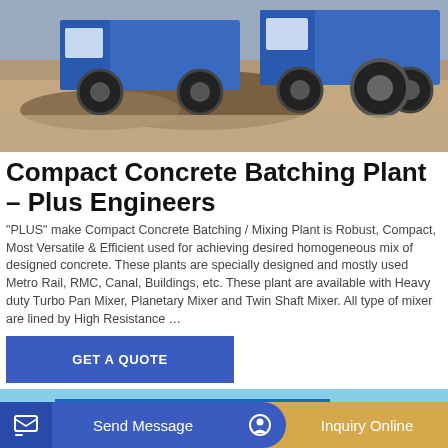[Figure (photo): Construction machinery/trucks parked on a dirt lot, viewed from side angle, blue equipment visible]
Compact Concrete Batching Plant – Plus Engineers
"PLUS" make Compact Concrete Batching / Mixing Plant is Robust, Compact, Most Versatile & Efficient used for achieving desired homogeneous mix of designed concrete. These plants are specially designed and mostly used Metro Rail, RMC, Canal, Buildings, etc. These plant are available with Heavy duty Turbo Pan Mixer, Planetary Mixer and Twin Shaft Mixer. All type of mixer are lined by High Resistance …
GET A QUOTE
[Figure (photo): Industrial building with blue roof under blue sky, construction facility]
Send Message
Inquiry Online